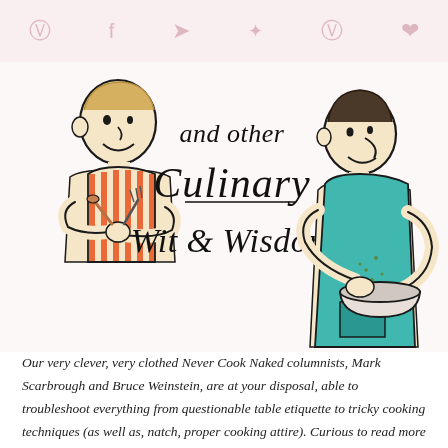[Social media share icons: Pinterest, Facebook, Twitter, unknown, Pinterest, Heart]
[Figure (illustration): Two cartoon men illustrated in a hand-drawn style. On the left, a man in an orange and white striped apron holding a wooden spoon and a fork or whisk, smiling. Between them, decorative hand-lettered text reads 'and other Culinary Wit & Wisdom' in black script. On the right, a man in a teal/turquoise apron holding a bowl, sprinkling something into it. Both figures are drawn with minimal lines, yellow-toned skin, and expressive faces.]
Our very clever, very clothed Never Cook Naked columnists, Mark Scarbrough and Bruce Weinstein, are at your disposal, able to troubleshoot everything from questionable table etiquette to tricky cooking techniques (as well as, natch, proper cooking attire). Curious to read more solutions to